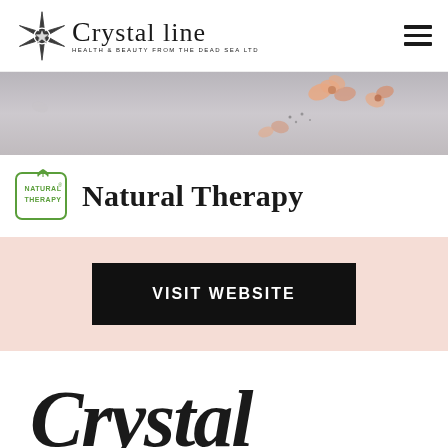Crystal line Health & Beauty from the Dead Sea Ltd
[Figure (photo): Top-down flat lay photo of dried flowers and petals on a light grey/lavender background]
[Figure (logo): Natural Therapy badge logo with green leaf motif and registered trademark symbol]
Natural Therapy
VISIT WEBSITE
[Figure (illustration): Partial cursive/script text visible at the bottom of the page, appearing to be a brand or product name]